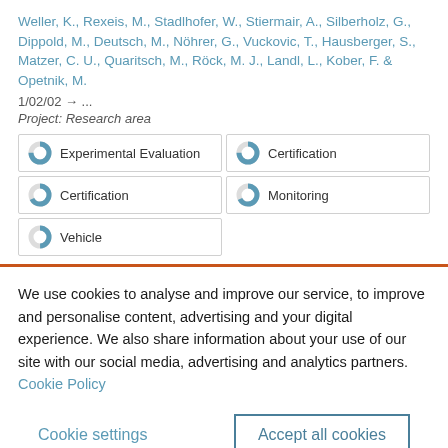Weller, K., Rexeis, M., Stadlhofer, W., Stiermair, A., Silberholz, G., Dippold, M., Deutsch, M., Nöhrer, G., Vuckovic, T., Hausberger, S., Matzer, C. U., Quaritsch, M., Röck, M. J., Landl, L., Kober, F. & Opetnik, M.
1/02/02 → ...
Project: Research area
Experimental Evaluation
Certification
Certification
Monitoring
Vehicle
We use cookies to analyse and improve our service, to improve and personalise content, advertising and your digital experience. We also share information about your use of our site with our social media, advertising and analytics partners.  Cookie Policy
Cookie settings
Accept all cookies